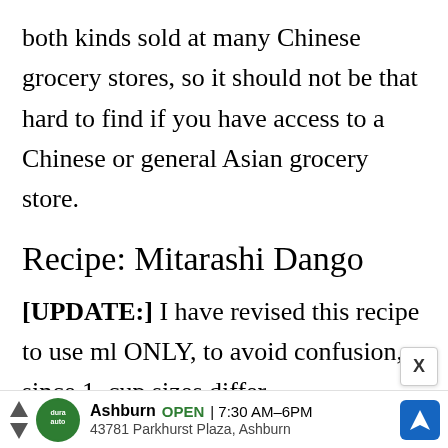both kinds sold at many Chinese grocery stores, so it should not be that hard to find if you have access to a Chinese or general Asian grocery store.
Recipe: Mitarashi Dango
[UPDATE:] I have revised this recipe to use ml ONLY, to avoid confusion, since 1. cup sizes differ
[Figure (infographic): Advertisement bar: Dura Auto logo (green circle), Ashburn location, OPEN 7:30AM-6PM, 43781 Parkhurst Plaza Ashburn, blue navigation arrow icon. X dismiss button in popup box.]